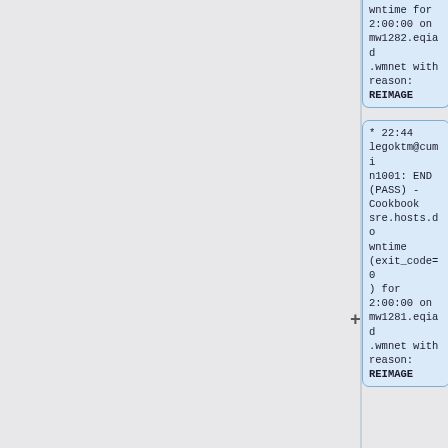wntime for 2:00:00 on mw1282.eqiad.wmnet with reason: REIMAGE
* 22:44 legoktm@cumin1001: END (PASS) - Cookbook sre.hosts.downtime (exit_code=0) for 2:00:00 on mw1281.eqiad.wmnet with reason: REIMAGE